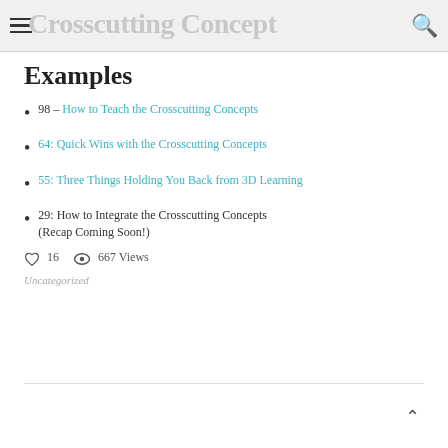Crosscutting Concept Examples
Examples
98 – How to Teach the Crosscutting Concepts
64: Quick Wins with the Crosscutting Concepts
55: Three Things Holding You Back from 3D Learning
29: How to Integrate the Crosscutting Concepts (Recap Coming Soon!)
16   667 Views
Uncategorized